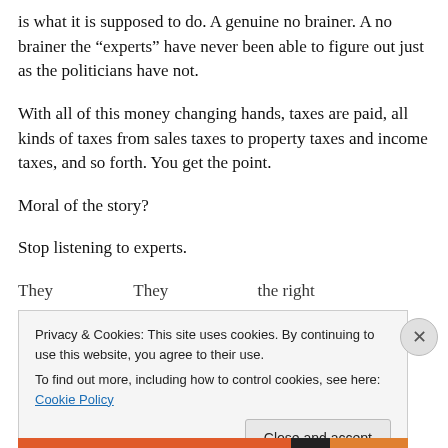is what it is supposed to do. A genuine no brainer. A no brainer the “experts” have never been able to figure out just as the politicians have not.
With all of this money changing hands, taxes are paid, all kinds of taxes from sales taxes to property taxes and income taxes, and so forth. You get the point.
Moral of the story?
Stop listening to experts.
They... [partially visible line]
Privacy & Cookies: This site uses cookies. By continuing to use this website, you agree to their use.
To find out more, including how to control cookies, see here: Cookie Policy